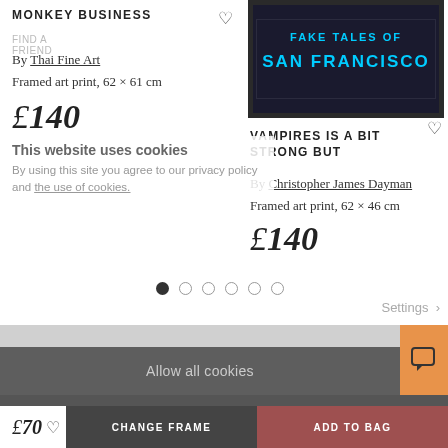MONKEY BUSINESS
By Thai Fine Art
Framed art print, 62 × 61 cm
£140
This website uses cookies
By using this site you agree to our privacy policy and the use of cookies.
[Figure (photo): Framed art print showing 'FAKE TALES OF SAN FRANCISCO' in blue neon text on dark background]
VAMPIRES IS A BIT STRONG BUT
By Christopher James Dayman
Framed art print, 62 × 46 cm
£140
Settings >
Allow all cookies
ABOUT US
Customize >
Black stained ash frame with window mount, 37 x 32 cm
£70
CHANGE FRAME
ADD TO BAG